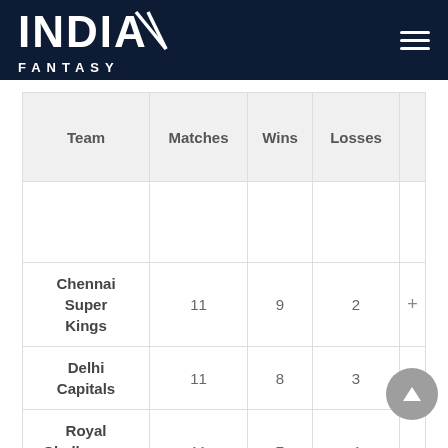INDIA FANTASY
| Team | Matches | Wins | Losses |  |
| --- | --- | --- | --- | --- |
|  |  |  |  |  |
| Chennai Super Kings | 11 | 9 | 2 | + |
| Delhi Capitals | 11 | 8 | 3 | + |
| Royal Challengers Bangalore | 11 | 7 | 4 | + |
| Kolkata | 11 | 5 | 6 | + |